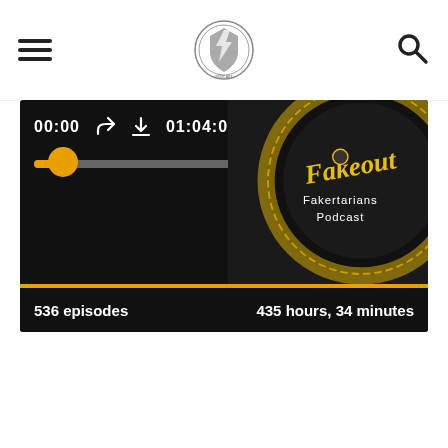Navigation header with menu icon, logo, and search icon
[Figure (screenshot): Podcast player card for 'Fakertarians Podcast - Fakeout' showing audio player with timestamp 00:00 / 01:04:08, progress bar with golden thumb, share and download icons, podcast artwork on the right (black circle with yellow text 'Fakeout' and 'Fakertarians Podcast'), a gold separator bar, and stats showing 536 episodes and 435 hours, 34 minutes]